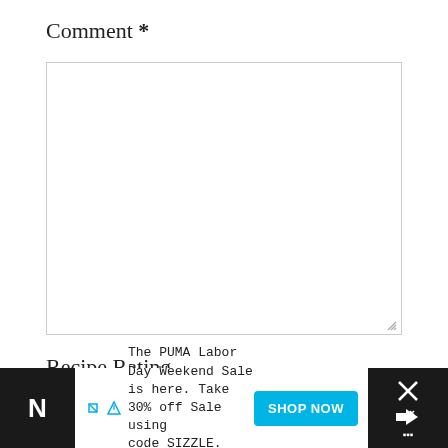Comment *
[Figure (other): Empty comment text area input box with resize handle in bottom-right corner]
Recipe Rating
[Figure (other): Five empty star rating icons in a row, colored light pink/salmon, all unfilled]
[Figure (other): Advertisement banner: The PUMA Labor Day Weekend Sale is here. Take 30% off Sale using code SIZZLE. Now-9/5. SHOP NOW button. Dark background on sides.]